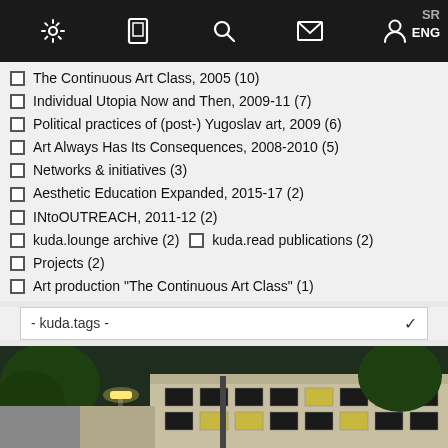SR ENG [navigation bar with settings, book, search, mail, user icons]
The Continuous Art Class, 2005 (10)
Individual Utopia Now and Then, 2009-11 (7)
Political practices of (post-) Yugoslav art, 2009 (6)
Art Always Has Its Consequences, 2008-2010 (5)
Networks & initiatives (3)
Aesthetic Education Expanded, 2015-17 (2)
INtoOUTREACH, 2011-12 (2)
kuda.lounge archive (2)  kuda.read publications (2)
Projects (2)
Art production "The Continuous Art Class" (1)
- kuda.tags -
[Figure (photo): Night outdoor photograph of a building with illuminated windows and street light, trees visible, people silhouetted in foreground]